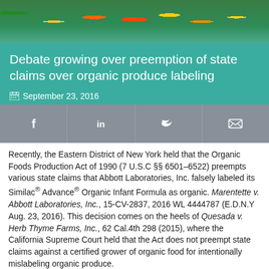[Figure (photo): Photo of fresh produce — fruits and vegetables including bananas, oranges, tomatoes, corn — in a market display]
Debate growing over preemption of state claims over organic produce labeling
September 23, 2016
[Figure (infographic): Social share bar with Facebook, LinkedIn, Twitter, and email icons on grey background]
Recently, the Eastern District of New York held that the Organic Foods Production Act of 1990 (7 U.S.C §§ 6501–6522) preempts various state claims that Abbott Laboratories, Inc. falsely labeled its Similac® Advance® Organic Infant Formula as organic. Marentette v. Abbott Laboratories, Inc., 15-CV-2837, 2016 WL 4444787 (E.D.N.Y Aug. 23, 2016). This decision comes on the heels of Quesada v. Herb Thyme Farms, Inc., 62 Cal.4th 298 (2015), where the California Supreme Court held that the Act does not preempt state claims against a certified grower of organic food for intentionally mislabeling organic produce.
Marentette and Quesada reach opposite conclusions and symbolize two sides of the same implied preemption coin. That